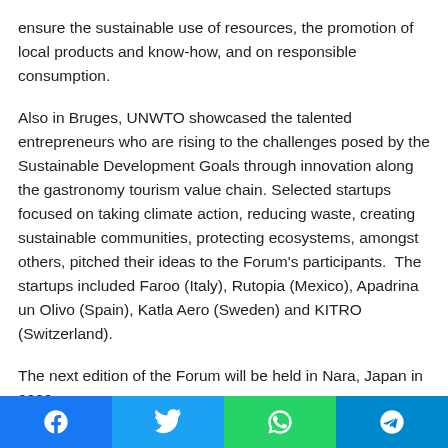ensure the sustainable use of resources, the promotion of local products and know-how, and on responsible consumption.
Also in Bruges, UNWTO showcased the talented entrepreneurs who are rising to the challenges posed by the Sustainable Development Goals through innovation along the gastronomy tourism value chain. Selected startups focused on taking climate action, reducing waste, creating sustainable communities, protecting ecosystems, amongst others, pitched their ideas to the Forum's participants.  The startups included Faroo (Italy), Rutopia (Mexico), Apadrina un Olivo (Spain), Katla Aero (Sweden) and KITRO (Switzerland).
The next edition of the Forum will be held in Nara, Japan in 2022.
[Figure (infographic): Social media sharing bar with Facebook, Twitter, WhatsApp, and Telegram buttons]